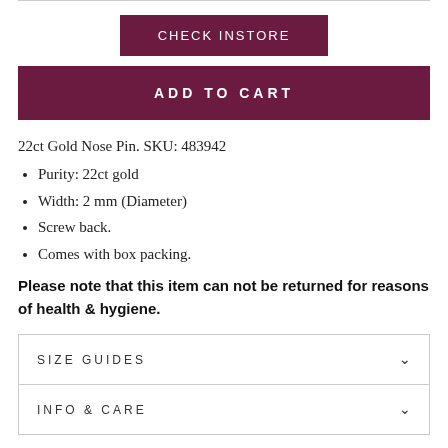CHECK INSTORE
ADD TO CART
22ct Gold Nose Pin. SKU: 483942
Purity: 22ct gold
Width: 2 mm (Diameter)
Screw back.
Comes with box packing.
Please note that this item can not be returned for reasons of health & hygiene.
SIZE GUIDES
INFO & CARE